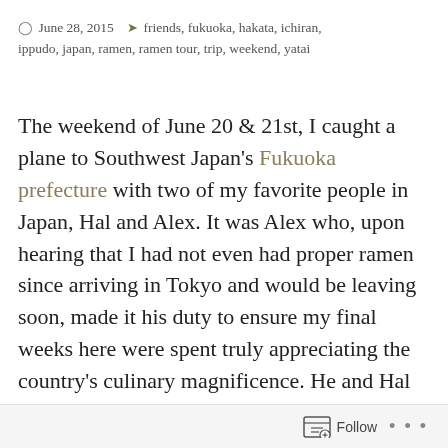June 28, 2015   friends, fukuoka, hakata, ichiran, ippudo, japan, ramen, ramen tour, trip, weekend, yatai
The weekend of June 20 & 21st, I caught a plane to Southwest Japan's Fukuoka prefecture with two of my favorite people in Japan, Hal and Alex. It was Alex who, upon hearing that I had not even had proper ramen since arriving in Tokyo and would be leaving soon, made it his duty to ensure my final weeks here were spent truly appreciating the country's culinary magnificence. He and Hal introduced me to some ramen so good it has changed some lifelong-held feelings about food, so it was only fitting that my last big trip here in Japan be a
Follow